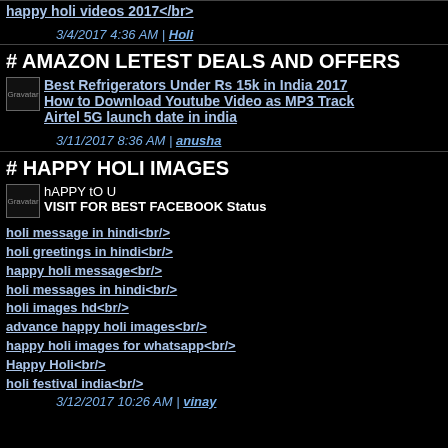happy holi videos 2017</br>
3/4/2017 4:36 AM | Holi
# AMAZON LETEST DEALS AND OFFERS
Gravatar Best Refrigerators Under Rs 15k in India 2017
How to Download Youtube Video as MP3 Track
Airtel 5G launch date in india
3/11/2017 8:36 AM | anusha
# HAPPY HOLI IMAGES
Gravatar hAPPY tO U
VISIT FOR BEST FACEBOOK Status
holi message in hindi<br/>
holi greetings in hindi<br/>
happy holi message<br/>
holi messages in hindi<br/>
holi images hd<br/>
advance happy holi images<br/>
happy holi images for whatsapp<br/>
Happy Holi<br/>
holi festival india<br/>
3/12/2017 10:26 AM | vinay